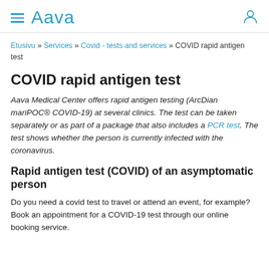Aava
Etusivu » Services » Covid - tests and services » COVID rapid antigen test
COVID rapid antigen test
Aava Medical Center offers rapid antigen testing (ArcDian mariPOC® COVID-19) at several clinics. The test can be taken separately or as part of a package that also includes a PCR test. The test shows whether the person is currently infected with the coronavirus.
Rapid antigen test (COVID) of an asymptomatic person
Do you need a covid test to travel or attend an event, for example? Book an appointment for a COVID-19 test through our online booking service.